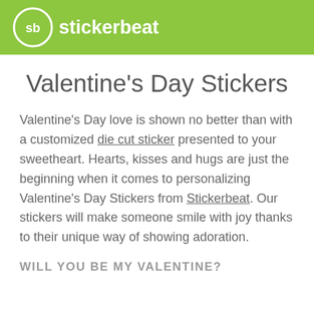sb stickerbeat
Valentine's Day Stickers
Valentine's Day love is shown no better than with a customized die cut sticker presented to your sweetheart. Hearts, kisses and hugs are just the beginning when it comes to personalizing Valentine's Day Stickers from Stickerbeat. Our stickers will make someone smile with joy thanks to their unique way of showing adoration.
WILL YOU BE MY VALENTINE?